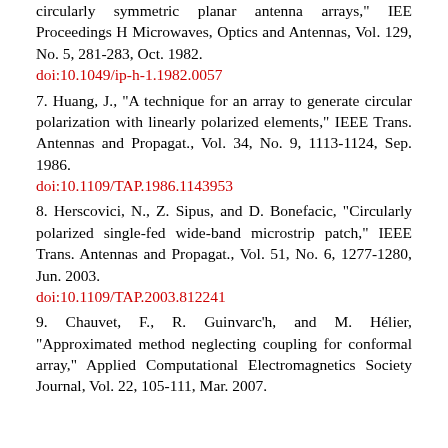circularly symmetric planar antenna arrays," IEE Proceedings H Microwaves, Optics and Antennas, Vol. 129, No. 5, 281-283, Oct. 1982.
doi:10.1049/ip-h-1.1982.0057
7. Huang, J., "A technique for an array to generate circular polarization with linearly polarized elements," IEEE Trans. Antennas and Propagat., Vol. 34, No. 9, 1113-1124, Sep. 1986.
doi:10.1109/TAP.1986.1143953
8. Herscovici, N., Z. Sipus, and D. Bonefacic, "Circularly polarized single-fed wide-band microstrip patch," IEEE Trans. Antennas and Propagat., Vol. 51, No. 6, 1277-1280, Jun. 2003.
doi:10.1109/TAP.2003.812241
9. Chauvet, F., R. Guinvarc'h, and M. Hélier, "Approximated method neglecting coupling for conformal array," Applied Computational Electromagnetics Society Journal, Vol. 22, 105-111, Mar. 2007.